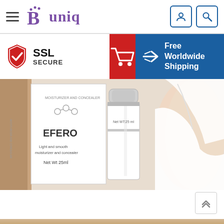[Figure (screenshot): Navigation bar with hamburger menu, Buniq logo in purple, user icon and search icon on the right]
[Figure (screenshot): Banner row: SSL Secure badge on left, red cart button in center, blue Free Worldwide Shipping section on right]
[Figure (photo): Product photo of EFERO Light and smooth moisturizer and concealer, Net Wt 25ml, with box and bottle, and woman's arm in background]
[Figure (screenshot): Back to top arrow button and partial bottom tan strip]